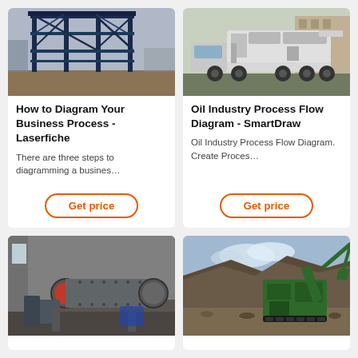[Figure (photo): Industrial steel framework structure at a mining or processing facility, blue steel beams, outdoor setting]
How to Diagram Your Business Process - Laserfiche
There are three steps to diagramming a busines…
[Figure (photo): White mobile crushing/screening machine on truck, parked at industrial site]
Oil Industry Process Flow Diagram - SmartDraw
Oil Industry Process Flow Diagram. Create Proces…
[Figure (photo): Large ball mill industrial grinding machine inside a factory warehouse]
[Figure (photo): Green mobile jaw crusher machine working at a quarry/mining site]